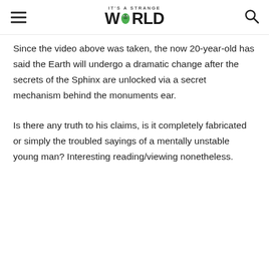IT'S A STRANGE WORLD
Since the video above was taken, the now 20-year-old has said the Earth will undergo a dramatic change after the secrets of the Sphinx are unlocked via a secret mechanism behind the monuments ear.
Is there any truth to his claims, is it completely fabricated or simply the troubled sayings of a mentally unstable young man? Interesting reading/viewing nonetheless.